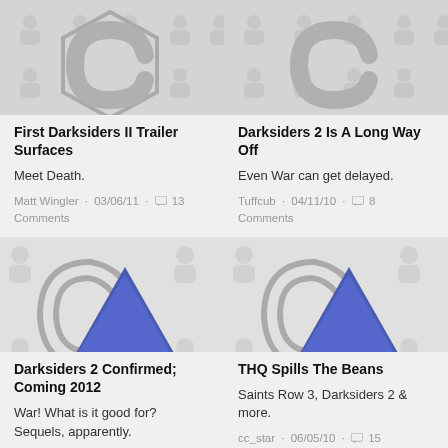[Figure (illustration): Top-left article thumbnail: grey hexagonal logo placeholder with user silhouette pattern]
[Figure (illustration): Top-right article thumbnail: grey hexagonal logo placeholder with user silhouette pattern]
First Darksiders II Trailer Surfaces
Darksiders 2 Is A Long Way Off
Meet Death.
Even War can get delayed.
Matt Wingler · 03/06/11 · 13 Comments
Tuffcub · 04/11/10 · 8 Comments
[Figure (illustration): Bottom-left article thumbnail: grey C-shaped hexagonal logo with blue triangle, user silhouette pattern background]
[Figure (illustration): Bottom-right article thumbnail: grey C-shaped hexagonal logo with blue triangle, user silhouette pattern background]
Darksiders 2 Confirmed; Coming 2012
THQ Spills The Beans
War! What is it good for? Sequels, apparently.
Saints Row 3, Darksiders 2 & more.
cc_star · 06/05/10 · 15 Comments